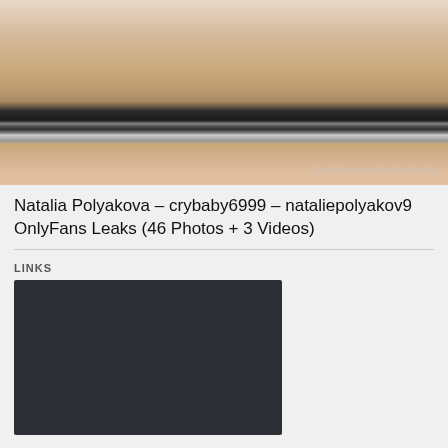[Figure (photo): Close-up photograph of a person's midsection wearing a white top and dark strappy lingerie/clothing, with a watermark reading 'OnlyFans.com/natalipolyakov' in the lower right corner.]
Natalia Polyakova – crybaby6999 – nataliepolyakov9 OnlyFans Leaks (46 Photos + 3 Videos)
LINKS
[Figure (screenshot): Dark/black rectangular block, likely a video player or embedded content area.]